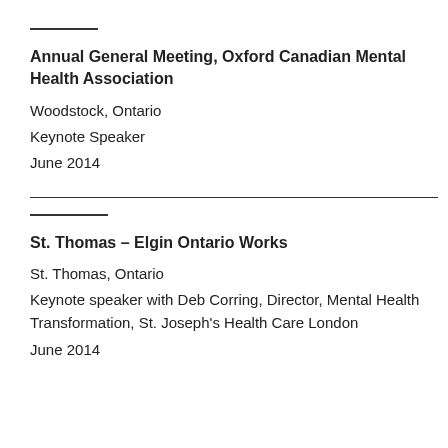Annual General Meeting, Oxford Canadian Mental Health Association
Woodstock, Ontario
Keynote Speaker
June 2014
St. Thomas – Elgin Ontario Works
St. Thomas, Ontario
Keynote speaker with Deb Corring, Director, Mental Health Transformation, St. Joseph's Health Care London
June 2014